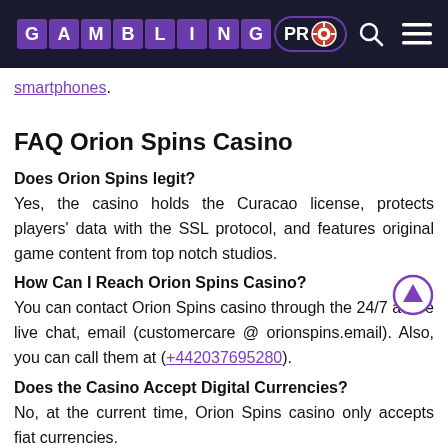GAMBLING PRO
smartphones.
FAQ Orion Spins Casino
Does Orion Spins legit?
Yes, the casino holds the Curacao license, protects players' data with the SSL protocol, and features original game content from top notch studios.
How Can I Reach Orion Spins Casino?
You can contact Orion Spins casino through the 24/7 active live chat, email (customercare @ orionspins.email). Also, you can call them at (+442037695280).
Does the Casino Accept Digital Currencies?
No, at the current time, Orion Spins casino only accepts fiat currencies.